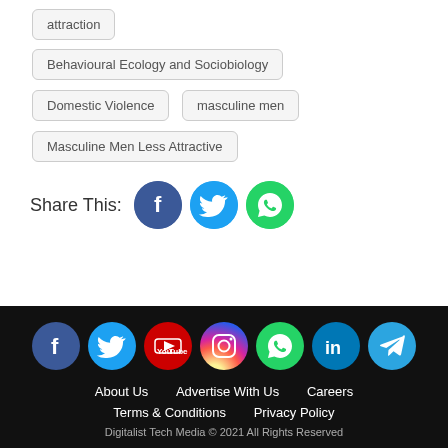attraction
Behavioural Ecology and Sociobiology
Domestic Violence
masculine men
Masculine Men Less Attractive
Share This:
About Us  Advertise With Us  Careers  Terms & Conditions  Privacy Policy  Digitalist Tech Media © 2021 All Rights Reserved